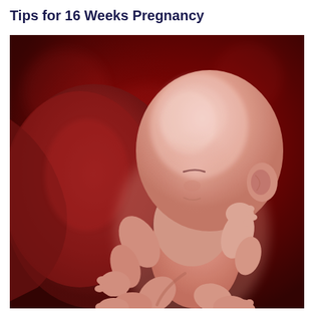Tips for 16 Weeks Pregnancy
[Figure (illustration): 3D rendered illustration of a human fetus at 16 weeks of pregnancy against a dark red background. The fetus is shown in a curled position with visible facial features (closed eyes, small nose, ear), hands near the face and chin, and legs visible at the bottom. The placenta is partially visible on the left side. The overall color palette is deep red and pink tones with dramatic lighting highlighting the fetus form.]